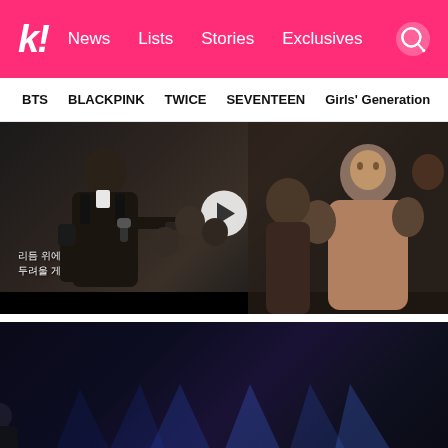k! News  Lists  Stories  Exclusives
BTS  BLACKPINK  TWICE  SEVENTEEN  Girls' Generation
[Figure (screenshot): Video screenshot showing a male performer in a dark suit singing into a microphone at what appears to be an award ceremony. A woman in a brown outfit is visible in the background. Korean subtitle text reads: 리듬 위에 올라가면 두려울 게 없어. A play button is overlaid in the center. Black bar at bottom.]
[Figure (screenshot): YouTube/Mnet video embed showing Mnet K-POP logo in pink, title 'Mnet.[쇼미더머니3] Ep.09 : BOBBY(바비) - 체...' with Mnet and three-dot icons. Subtitle bar shows 'BOBBY VS 비스코'. Stage with blue spotlights and performer silhouette visible. Play button overlaid at bottom center.]